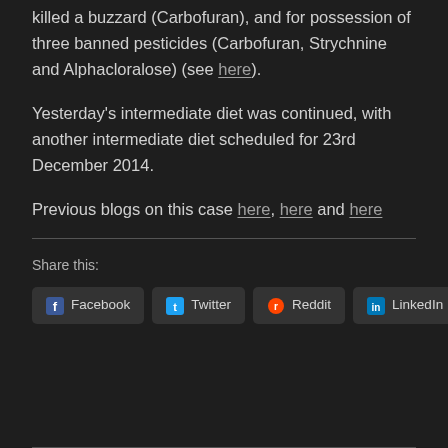killed a buzzard (Carbofuran), and for possession of three banned pesticides (Carbofuran, Strychnine and Alphacloralose) (see here).
Yesterday's intermediate diet was continued, with another intermediate diet scheduled for 23rd December 2014.
Previous blogs on this case here, here and here
Share this:
Facebook  Twitter  Reddit  LinkedIn